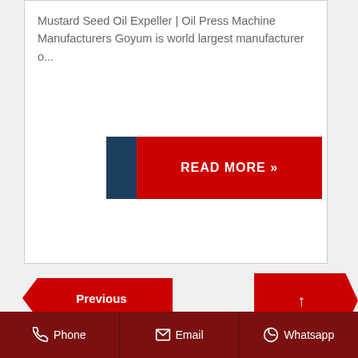Mustard Seed Oil Expeller | Oil Press Machine Manufacturers Goyum is world largest manufacturer o...
[Figure (other): Red READ MORE button with blue left accent bar]
[Figure (other): Previous navigation arrow button (red, left-pointing chevron)]
[Figure (other): Next/up navigation arrow button (red, right-pointing chevron with up arrow)]
Phone   Email   Whatsapp